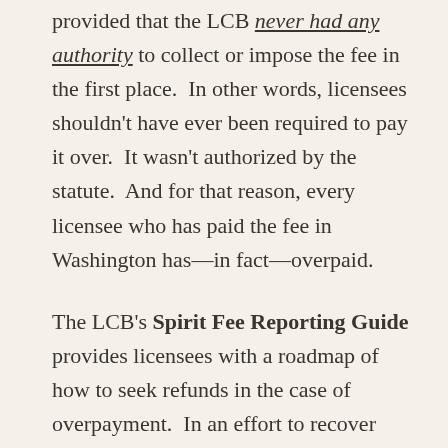provided that the LCB never had any authority to collect or impose the fee in the first place.  In other words, licensees shouldn't have ever been required to pay it over.  It wasn't authorized by the statute.  And for that reason, every licensee who has paid the fee in Washington has—in fact—overpaid.
The LCB's Spirit Fee Reporting Guide provides licensees with a roadmap of how to seek refunds in the case of overpayment.  In an effort to recover these prior overpayments, many licensees are taking advantage of that process—either individually or with the